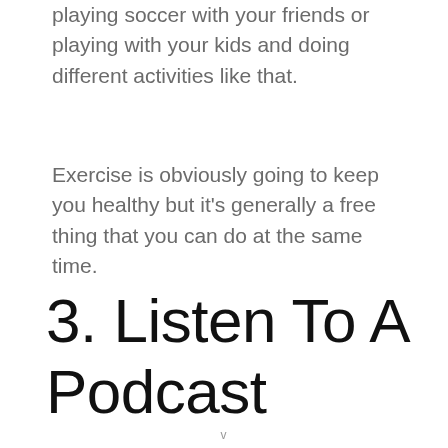playing soccer with your friends or playing with your kids and doing different activities like that.
Exercise is obviously going to keep you healthy but it's generally a free thing that you can do at the same time.
3. Listen To A Podcast
v